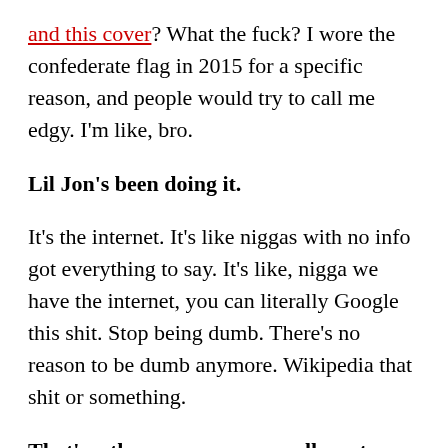and this cover? What the fuck? I wore the confederate flag in 2015 for a specific reason, and people would try to call me edgy. I'm like, bro.
Lil Jon's been doing it.
It's the internet. It's like niggas with no info got everything to say. It's like, nigga we have the internet, you can literally Google this shit. Stop being dumb. There's no reason to be dumb anymore. Wikipedia that shit or something.
That's a theme on your new album too, even in the song titles, just things that people say on the internet. Like on “Beta Male Strategies.”